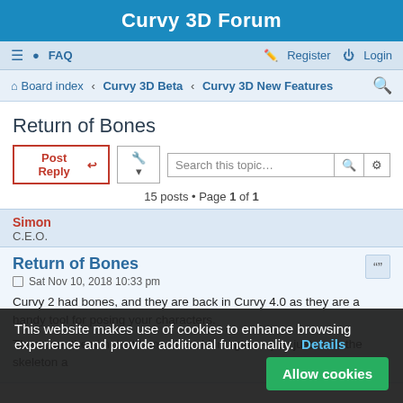Curvy 3D Forum
≡  FAQ    Register  Login
Board index · Curvy 3D Beta · Curvy 3D New Features
Return of Bones
Post Reply   [tools]   Search this topic...
15 posts • Page 1 of 1
Simon
C.E.O.
Return of Bones
Sat Nov 10, 2018 10:33 pm
Curvy 2 had bones, and they are back in Curvy 4.0 as they are a handy tool for posing your characters.
These are the simplest bones I could imagine – you just draw the skeleton and it influences the mesh. I had a look at some tutorials – one was 3 hours long and barely had a working arm at the end of it all! Yep, no controllers IK, influence...
This website makes use of cookies to enhance browsing experience and provide additional functionality. Details   Allow cookies